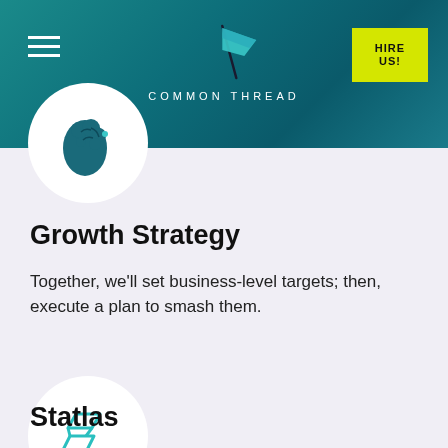COMMON THREAD | HIRE US!
[Figure (illustration): Brain icon inside white circle, teal/dark color]
Growth Strategy
Together, we'll set business-level targets; then, execute a plan to smash them.
[Figure (logo): Teal geometric lightning bolt / Statlas logo inside white circle]
Statlas